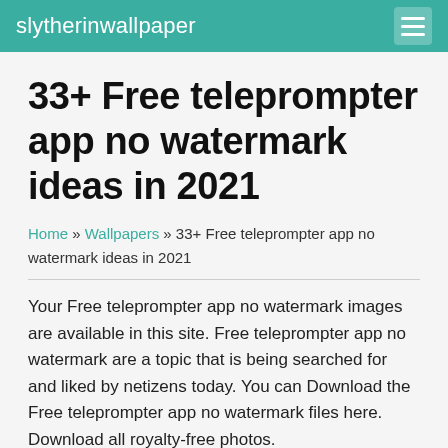slytherinwallpaper
33+ Free teleprompter app no watermark ideas in 2021
Home » Wallpapers » 33+ Free teleprompter app no watermark ideas in 2021
Your Free teleprompter app no watermark images are available in this site. Free teleprompter app no watermark are a topic that is being searched for and liked by netizens today. You can Download the Free teleprompter app no watermark files here. Download all royalty-free photos.
If you're searching for free teleprompter app no